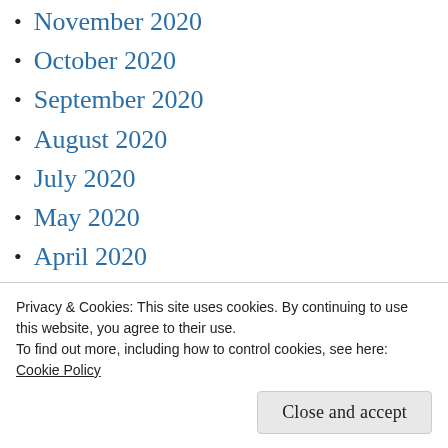November 2020
October 2020
September 2020
August 2020
July 2020
May 2020
April 2020
September 2019
August 2019
July 2019
June 2019
Privacy & Cookies: This site uses cookies. By continuing to use this website, you agree to their use.
To find out more, including how to control cookies, see here: Cookie Policy
Close and accept